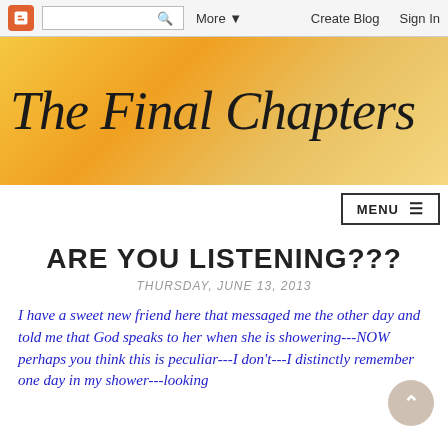Blogger navbar: logo, search, More, Create Blog, Sign In
[Figure (screenshot): Blog banner with golden gradient background and cursive title 'The Final Chapters']
ARE YOU LISTENING???
THURSDAY, JUNE 13, 2013
I have a sweet new friend here that messaged me the other day and told me that God speaks to her when she is showering---NOW perhaps you think this is peculiar---I don't---I distinctly remember one day in my shower---looking